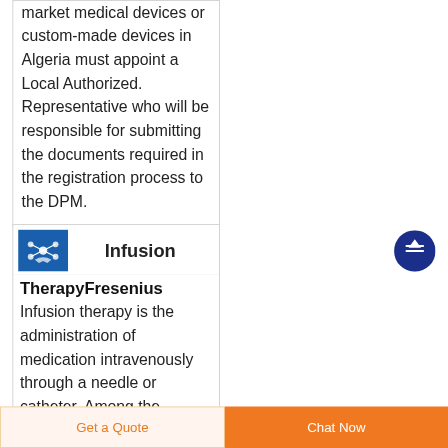market medical devices or custom-made devices in Algeria must appoint a Local Authorized. Representative who will be responsible for submitting the documents required in the registration process to the DPM.
[Figure (logo): Blue square logo with a molecular/infusion pump icon in white]
Infusion
TherapyFresenius
Infusion therapy is the administration of medication intravenously through a needle or catheter. Among the
[Figure (other): Dark blue circular scroll-to-top button with white upward arrow]
Get a Quote
Chat Now